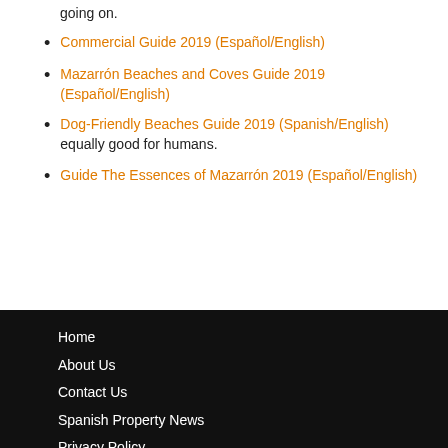going on.
Commercial Guide 2019 (Español/English)
Mazarrón Beaches and Coves Guide 2019 (Español/English)
Dog-Friendly Beaches Guide 2019 (Spanish/English) equally good for humans.
Guide The Essences of Mazarrón 2019 (Español/English)
Home
About Us
Contact Us
Spanish Property News
Privacy Policy